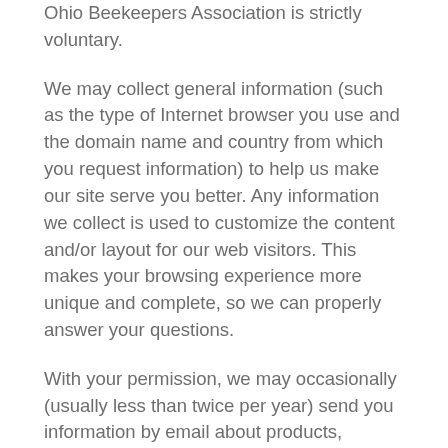Ohio Beekeepers Association is strictly voluntary.
We may collect general information (such as the type of Internet browser you use and the domain name and country from which you request information) to help us make our site serve you better. Any information we collect is used to customize the content and/or layout for our web visitors. This makes your browsing experience more unique and complete, so we can properly answer your questions.
With your permission, we may occasionally (usually less than twice per year) send you information by email about products, specials, giveaway promotions, information, etc. If you prefer not to receive this kind of information from Central Ohio Beekeepers Association, your request will be promptly honored. To be removed from our mailing list, simply reply and type “remove” in the subject or body of your message and this request will be